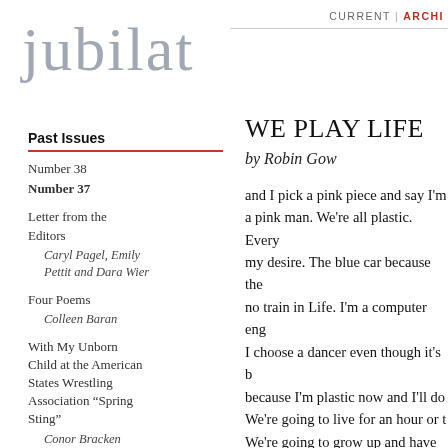CURRENT | ARCHIVE
jubilat
Past Issues
Number 38
Number 37
Letter from the Editors
Caryl Pagel, Emily Pettit and Dara Wier
Four Poems
Colleen Baran
With My Unborn Child at the American States Wrestling Association “Spring Sting”
Conor Bracken
The Women in My Family All Clean the
WE PLAY LIFE
by Robin Gow
and I pick a pink piece and say I'm a pink man. We're all plastic. Every my desire. The blue car because the no train in Life. I'm a computer eng I choose a dancer even though it's b because I'm plastic now and I'll do We're going to live for an hour or t We're going to grow up and have ch Does my pink man walk down the s looking at everything he doesn't ha yes I wish I had a lawn to hold a hy Or does he only think of the square